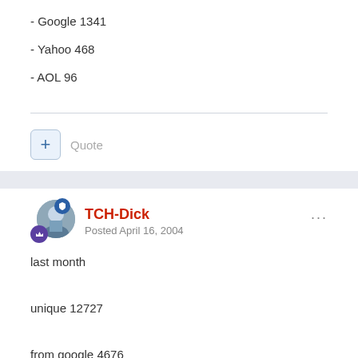- Google 1341
- Yahoo 468
- AOL 96
Quote
TCH-Dick
Posted April 16, 2004
last month
unique 12727
from google 4676